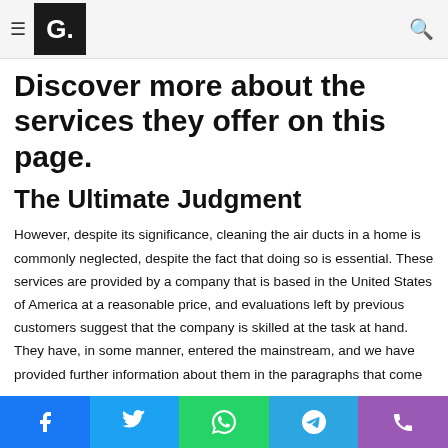G. [navigation bar with hamburger menu, G. logo, and search icon]
The vast majority of testimonials on the quality of the service … while there are a few unfavourable remarks.
Discover more about the services they offer on this page.
The Ultimate Judgment
However, despite its significance, cleaning the air ducts in a home is commonly neglected, despite the fact that doing so is essential. These services are provided by a company that is based in the United States of America at a reasonable price, and evaluations left by previous customers suggest that the company is skilled at the task at hand. They have, in some manner, entered the mainstream, and we have provided further information about them in the paragraphs that come…
Facebook | Twitter | WhatsApp | Telegram | Phone